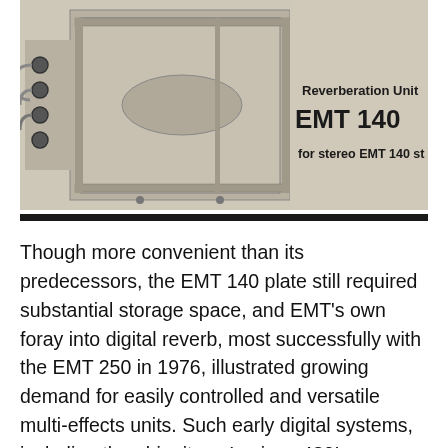[Figure (photo): Black and white photo of the EMT 140 Reverberation Unit, a large rack-mounted plate reverb device shown from the front/side angle. Text overlay reads 'Reverberation Unit EMT 140 for stereo EMT 140 st'.]
Though more convenient than its predecessors, the EMT 140 plate still required substantial storage space, and EMT's own foray into digital reverb, most successfully with the EMT 250 in 1976, illustrated growing demand for easily controlled and versatile multi-effects units. Such early digital systems, including the ubiquitous Lexicon 480L, contained plate programs loosely based upon the original EMT 140. However, the sonic qualities of the 140 plate have been more accurately reproduced with modern modeling and convolution reverb plugins